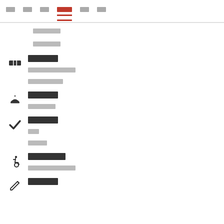내비게이션 바 (한국어 UI 메뉴)
섹션 1: 티켓 관련 항목
섹션 2: 식사 관련 항목
섹션 3: 체크 관련 항목
섹션 4: 장애인 접근성 관련 항목
섹션 5: 기타 항목